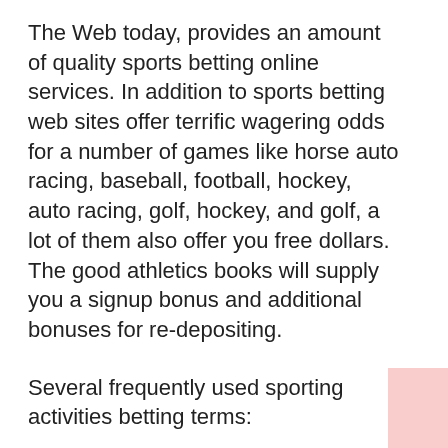The Web today, provides an amount of quality sports betting online services. In addition to sports betting web sites offer terrific wagering odds for a number of games like horse auto racing, baseball, football, hockey, auto racing, golf, hockey, and golf, a lot of them also offer you free dollars. The good athletics books will supply you a signup bonus and additional bonuses for re-depositing.
Several frequently used sporting activities betting terms:
Accommodement: Betting the same occasion at separate sporting activities books in order to secure in an income if you take advantage